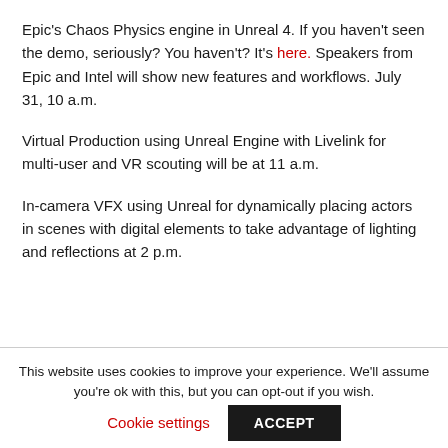Epic's Chaos Physics engine in Unreal 4. If you haven't seen the demo, seriously? You haven't? It's here. Speakers from Epic and Intel will show new features and workflows. July 31, 10 a.m.
Virtual Production using Unreal Engine with Livelink for multi-user and VR scouting will be at 11 a.m.
In-camera VFX using Unreal for dynamically placing actors in scenes with digital elements to take advantage of lighting and reflections at 2 p.m.
This website uses cookies to improve your experience. We'll assume you're ok with this, but you can opt-out if you wish.
Cookie settings
ACCEPT